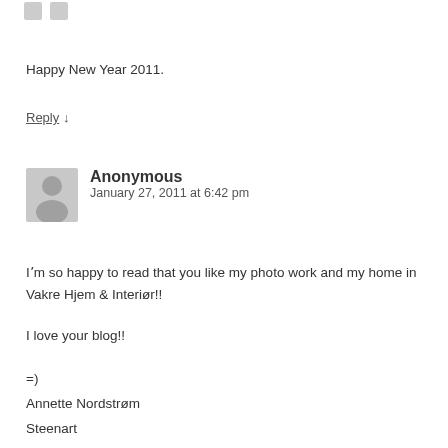[Figure (illustration): Two small grey avatar placeholder icons at top left]
Happy New Year 2011.
Reply ↓
[Figure (illustration): Grey person/avatar placeholder icon for Anonymous commenter]
Anonymous
January 27, 2011 at 6:42 pm
I'm so happy to read that you like my photo work and my home in Vakre Hjem & Interiør!!
I love your blog!!
=)
Annette Nordstrøm
Steenart